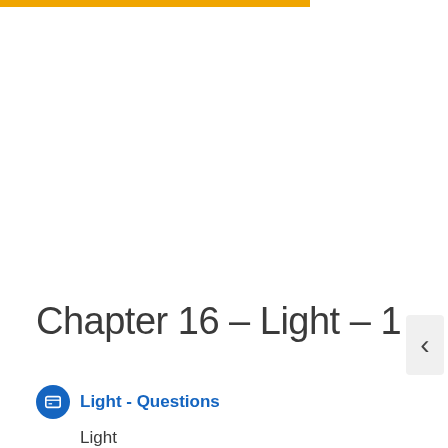Chapter 16 – Light – 1
Light - Questions
Light
Q1. Fill in the blank...